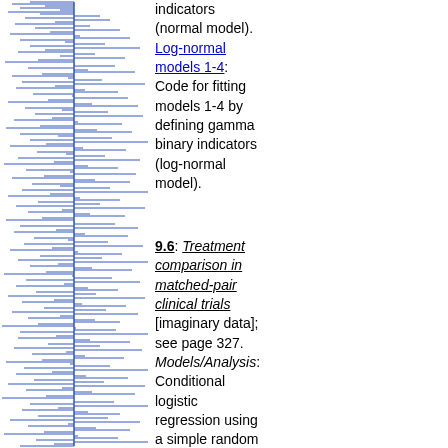[Figure (other): Blue waveform / signal decoration running vertically along the left margin of the page]
indicators (normal model). Log-normal models 1-4: Code for fitting models 1-4 by defining gamma binary indicators (log-normal model).
9.6: Treatment comparison in matched-pair clinical trials [imaginary data]; see page 327. Models/Analysis: Conditional logistic regression using a simple random intercept model. Download: WinBUGS code (including data):